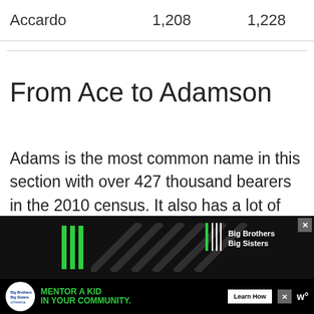| Accardo | 1,208 | 1,228 |
From Ace to Adamson
Adams is the most common name in this section with over 427 thousand bearers in the 2010 census. It also has a lot of variants that also appear on the list.
[Figure (other): Advertisement banner for Big Brothers Big Sisters — 'Mentor a Kid in Your Community. Learn How.']